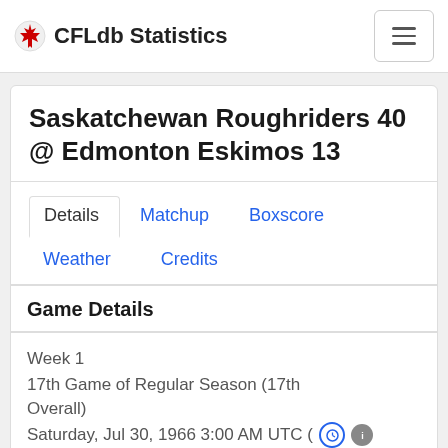CFLdb Statistics
Saskatchewan Roughriders 40 @ Edmonton Eskimos 13
Details
Matchup
Boxscore
Weather
Credits
Game Details
Week 1
17th Game of Regular Season (17th Overall)
Saturday, Jul 30, 1966 3:00 AM UTC (